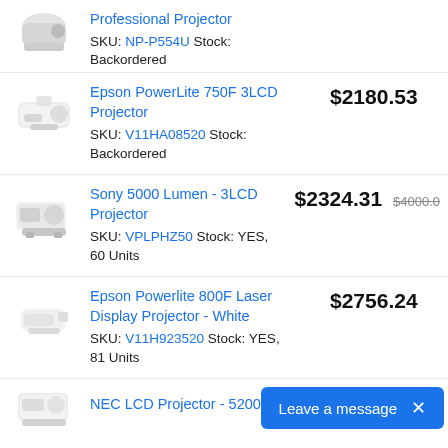[Figure (photo): Projector product image (partial, top-cropped) for Professional Projector]
Professional Projector
SKU: NP-P554U Stock: Backordered
[Figure (photo): Epson projector ceiling-mount product image]
Epson PowerLite 750F 3LCD Projector
SKU: V11HA08520 Stock: Backordered
$2180.53
[Figure (photo): Sony 5000 Lumen 3LCD Projector product image]
Sony 5000 Lumen - 3LCD Projector
SKU: VPLPHZ50 Stock: YES, 60 Units
$2324.31 $4000.00
[Figure (photo): Epson Powerlite 800F Laser Display Projector White product image]
Epson Powerlite 800F Laser Display Projector - White
SKU: V11H923520 Stock: YES, 81 Units
$2756.24
[Figure (photo): NEC LCD Projector product image (partial)]
NEC LCD Projector - 5200
Leave a message  ×